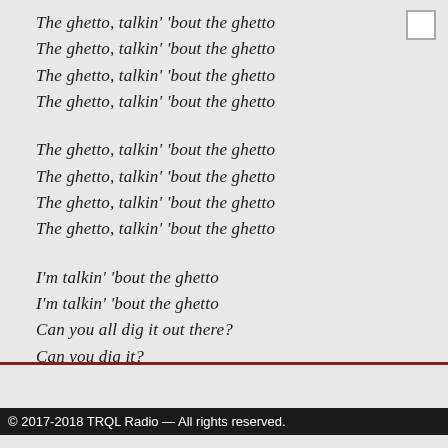The ghetto, talkin' 'bout the ghetto
The ghetto, talkin' 'bout the ghetto
The ghetto, talkin' 'bout the ghetto
The ghetto, talkin' 'bout the ghetto

The ghetto, talkin' 'bout the ghetto
The ghetto, talkin' 'bout the ghetto
The ghetto, talkin' 'bout the ghetto
The ghetto, talkin' 'bout the ghetto

I'm talkin' 'bout the ghetto
I'm talkin' 'bout the ghetto
Can you all dig it out there?
Can you dig it?
Artist: Angela Bofill
Title: Holdin' Out for Love
© 2017-2018 TRQL Radio — All rights reserved.